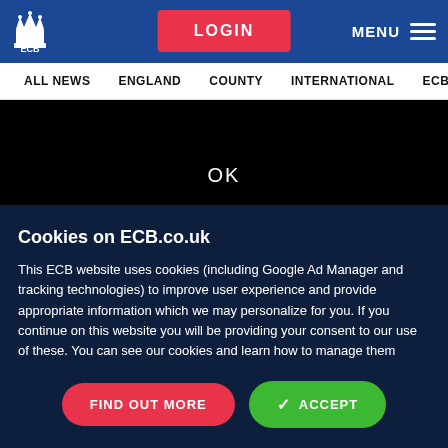ECB | LOGIN | MENU
ALL NEWS | ENGLAND | COUNTY | INTERNATIONAL | ECB | GRASSROOTS
[Figure (screenshot): Black area with OK text]
Cookies on ECB.co.uk
This ECB website uses cookies (including Google Ad Manager and tracking technologies) to improve user experience and provide appropriate information which we may personalize for you. If you continue on this website you will be providing your consent to our use of these. You can see our cookies and learn how to manage them
FIND OUT MORE | ACCEPT